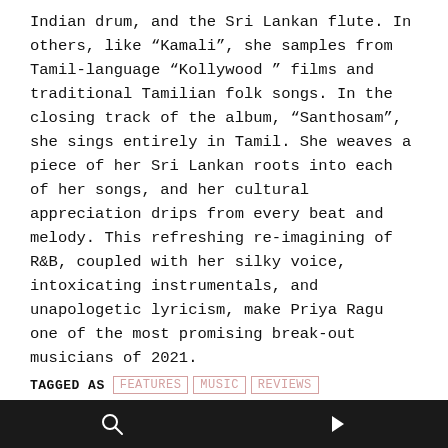Indian drum, and the Sri Lankan flute. In others, like “Kamali”, she samples from Tamil-language “Kollywood ” films and traditional Tamilian folk songs. In the closing track of the album, “Santhosam”, she sings entirely in Tamil. She weaves a piece of her Sri Lankan roots into each of her songs, and her cultural appreciation drips from every beat and melody. This refreshing re-imagining of R&B, coupled with her silky voice, intoxicating instrumentals, and unapologetic lyricism, make Priya Ragu one of the most promising break-out musicians of 2021.
TAGGED AS  FEATURES  MUSIC  REVIEWS